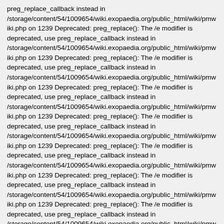preg_replace_callback instead in /storage/content/54/1009654/wiki.exopaedia.org/public_html/wiki/pmwiki.php on 1239 Deprecated: preg_replace(): The /e modifier is deprecated, use preg_replace_callback instead in /storage/content/54/1009654/wiki.exopaedia.org/public_html/wiki/pmwiki.php on 1239 Deprecated: preg_replace(): The /e modifier is deprecated, use preg_replace_callback instead in /storage/content/54/1009654/wiki.exopaedia.org/public_html/wiki/pmwiki.php on 1239 Deprecated: preg_replace(): The /e modifier is deprecated, use preg_replace_callback instead in /storage/content/54/1009654/wiki.exopaedia.org/public_html/wiki/pmwiki.php on 1239 Deprecated: preg_replace(): The /e modifier is deprecated, use preg_replace_callback instead in /storage/content/54/1009654/wiki.exopaedia.org/public_html/wiki/pmwiki.php on 1239 Deprecated: preg_replace(): The /e modifier is deprecated, use preg_replace_callback instead in /storage/content/54/1009654/wiki.exopaedia.org/public_html/wiki/pmwiki.php on 1239 Deprecated: preg_replace(): The /e modifier is deprecated, use preg_replace_callback instead in /storage/content/54/1009654/wiki.exopaedia.org/public_html/wiki/pmwiki.php on 1239 Deprecated: preg_replace(): The /e modifier is deprecated, use preg_replace_callback instead in /storage/content/54/1009654/wiki.exopaedia.org/public_html/wiki/pmwiki.php on 1239 Deprecated: preg_replace(): The /e modifier is deprecated, use preg_replace_callback instead in /storage/content/54/1009654/wiki.exopaedia.org/public_html/wiki/pmwiki.php on 1239 Deprecated: preg_replace(): The /e modifier is deprecated, use